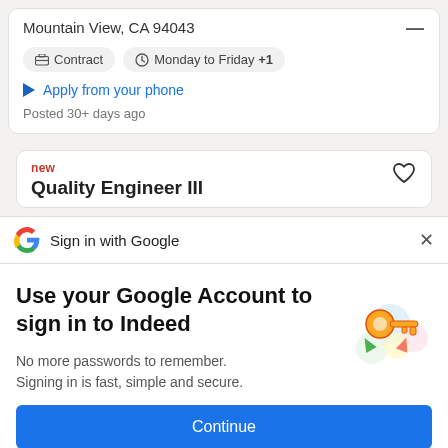Mountain View, CA 94043
Contract
Monday to Friday +1
Apply from your phone
Posted 30+ days ago
new
Quality Engineer III
Sign in with Google
Use your Google Account to sign in to Indeed
No more passwords to remember. Signing in is fast, simple and secure.
Continue